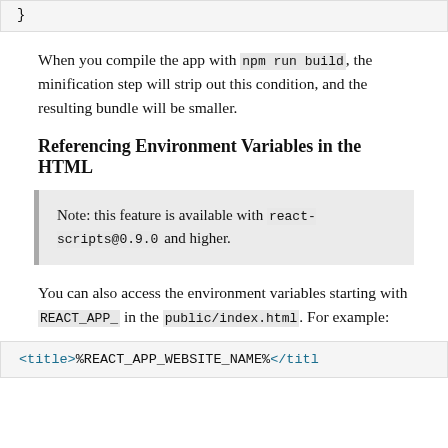}
When you compile the app with npm run build, the minification step will strip out this condition, and the resulting bundle will be smaller.
Referencing Environment Variables in the HTML
Note: this feature is available with react-scripts@0.9.0 and higher.
You can also access the environment variables starting with REACT_APP_ in the public/index.html. For example:
<title>%REACT_APP_WEBSITE_NAME%</title